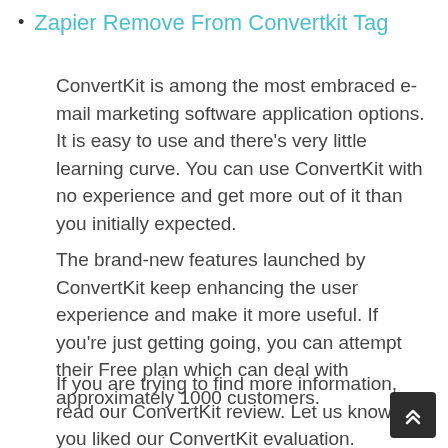Zapier Remove From Convertkit Tag
ConvertKit is among the most embraced e-mail marketing software application options. It is easy to use and there's very little learning curve. You can use ConvertKit with no experience and get more out of it than you initially expected.
The brand-new features launched by ConvertKit keep enhancing the user experience and make it more useful. If you're just getting going, you can attempt their Free plan which can deal with approximately 1000 customers.
If you are trying to find more information, read our ConvertKit review. Let us know if you liked our ConvertKit evaluation.